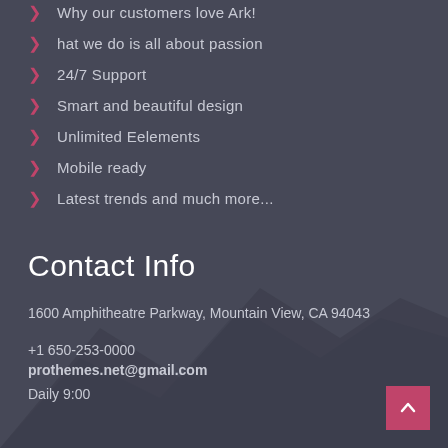Why our customers love Ark!
hat we do is all about passion
24/7 Support
Smart and beautiful design
Unlimited Eelements
Mobile ready
Latest trends and much more...
Contact Info
1600 Amphitheatre Parkway, Mountain View, CA 94043
+1 650-253-0000
prothemes.net@gmail.com
Daily 9:00